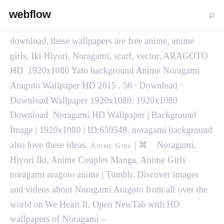webflow
download, these wallpapers are free anime, anime girls, Iki Hiyori, Noragami, scarf, vector, ARAGOTO HD  1920x1080 Yato background Anime Noragami Aragoto Wallpaper HD 2015 . 56 · Download · Download Wallpaper 1920x1080. 1920x1080 Download  Noragami HD Wallpaper | Background Image | 1920x1080 | ID:659548. noragami background also love these ideas. ANIME GIRL | ⊛    Noragami, Hiyori Iki, Anime Couples Manga, Anime Girls noragami aragoto anime | Tumblr. Discover images and videos about Noragami Aragoto from all over the world on We Heart It. Open NewTab with HD wallpapers of Noragami –